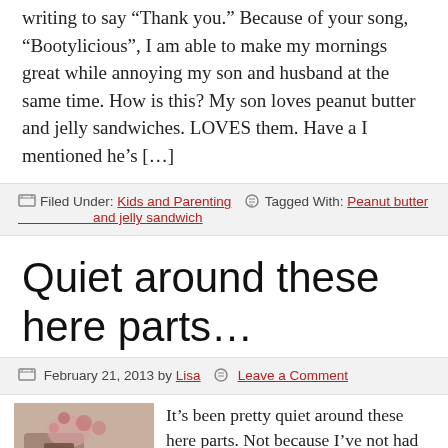writing to say “Thank you.” Because of your song, “Bootylicious”, I am able to make my mornings great while annoying my son and husband at the same time. How is this? My son loves peanut butter and jelly sandwiches. LOVES them. Have a I mentioned he’s […]
Filed Under: Kids and Parenting   Tagged With: Peanut butter and jelly sandwich
Quiet around these here parts…
February 21, 2013 by Lisa   Leave a Comment
[Figure (photo): Thumbnail photo showing a person with flowers]
It’s been pretty quiet around these here parts. Not because I’ve not had